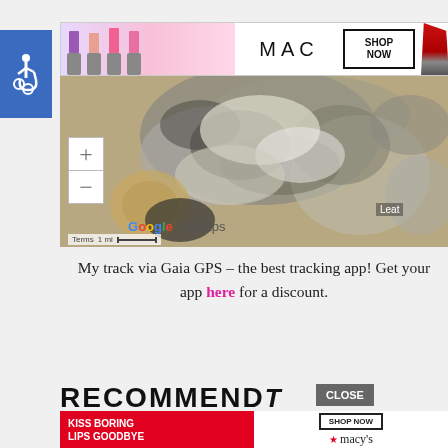[Figure (screenshot): MAC cosmetics advertisement banner showing colorful lipsticks (purple, pink, coral) on left, MAC logo in center, SHOP NOW button in bordered box, red lipstick on right]
[Figure (map): Google MyMaps satellite view showing aerial/terrain imagery with zoom plus and minus controls, 'Leat' label, 'Google MyMaps' watermark, 'Terms' and '1 mi' scale bar]
My track via Gaia GPS – the best tracking app! Get your app here for a discount.
RECOMMEND
[Figure (screenshot): Macy's advertisement - red background left side reads 'KISS BORING LIPS GOODBYE', right side has 'SHOP NOW' button and Macy's logo with star]
CLOSE